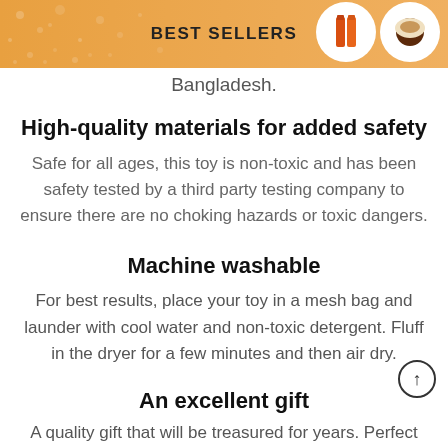BEST SELLERS
Bangladesh.
High-quality materials for added safety
Safe for all ages, this toy is non-toxic and has been safety tested by a third party testing company to ensure there are no choking hazards or toxic dangers.
Machine washable
For best results, place your toy in a mesh bag and launder with cool water and non-toxic detergent. Fluff in the dryer for a few minutes and then air dry.
An excellent gift
A quality gift that will be treasured for years. Perfect